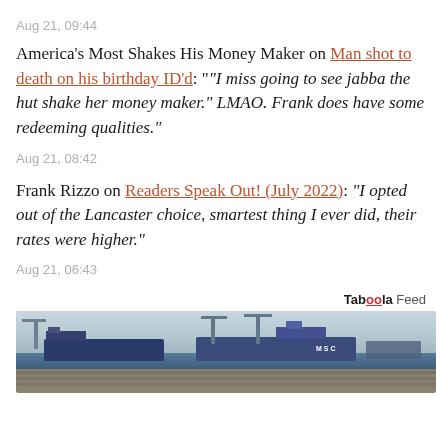Aug 21, 09:44
America's Most Shakes His Money Maker on Man shot to death on his birthday ID'd: "“I miss going to see jabba the hut shake her money maker.” LMAO. Frank does have some redeeming qualities."
Aug 21, 08:42
Frank Rizzo on Readers Speak Out! (July 2022): “I opted out of the Lancaster choice, smartest thing I ever did, their rates were higher.”
Aug 21, 06:43
Taboola Feed
[Figure (photo): Aerial or harbor view of cargo ships and shipping containers at a busy port, with cranes visible and rows of vehicles or containers in the foreground.]